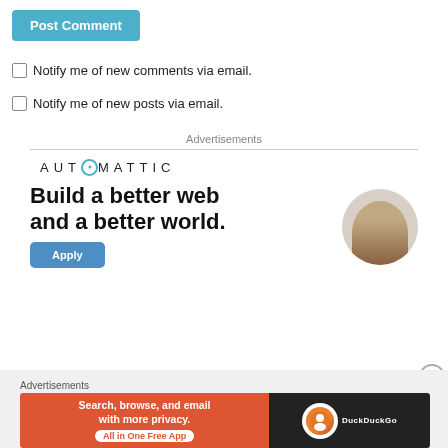Post Comment
Notify me of new comments via email.
Notify me of new posts via email.
Advertisements
[Figure (logo): AUTOMATTIC logo with a circular letter O in teal]
[Figure (infographic): Automattic ad: 'Build a better web and a better world.' with Apply button and person photo]
Advertisements
[Figure (infographic): DuckDuckGo ad: 'Search, browse, and email with more privacy. All in One Free App']